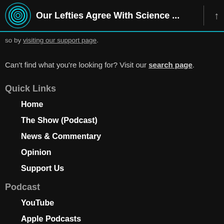Our Lefties Agree With Science ...
so by visiting our support page.
Can't find what you're looking for? Visit our search page.
Quick Links
Home
The Show (Podcast)
News & Commentary
Opinion
Support Us
Podcast
YouTube
Apple Podcasts
Google Podcasts
Spotify